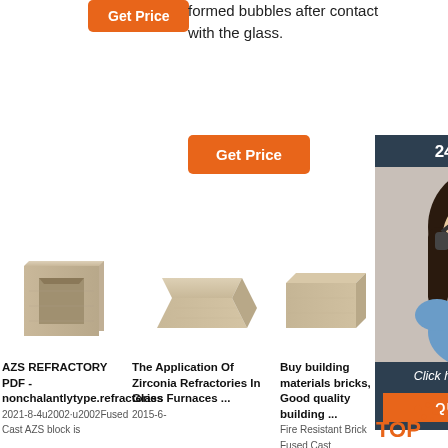[Figure (other): Orange 'Get Price' button top left]
formed bubbles after contact with the glass.
[Figure (other): Orange 'Get Price' button center]
[Figure (other): 24/7 Online live chat panel with agent photo, 'Click here for free chat!' text and QUOTATION button]
[Figure (photo): AZS refractory block product image - beige ceramic cube/container]
[Figure (photo): Zirconia refractory brick product image - trapezoidal beige brick]
[Figure (photo): Fused cast refractory brick product image - partial view]
AZS REFRACTORY PDF - nonchalantlytype.refractories
2021-8-4u2002·u2002Fused Cast AZS block is
The Application Of Zirconia Refractories In Glass Furnaces ...
2015-6-
Buy building materials bricks, Good quality building ...
Fire Resistant Brick Fused Cast
[Figure (logo): TOP logo with orange dots]